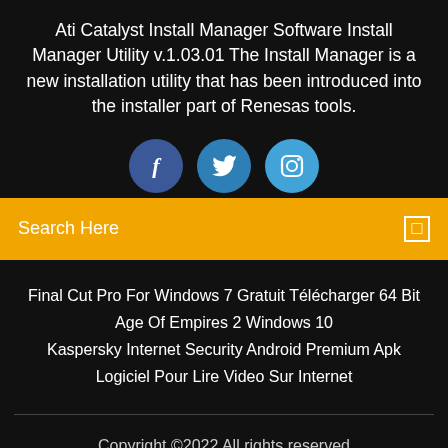Ati Catalyst Install Manager Software Install Manager Utility v.1.03.01 The Install Manager is a new installation utility that has been introduced into the installer part of Renesas tools.
[Figure (illustration): Three social media icon circles: Facebook (dark blue), Twitter (medium blue), Instagram (light blue) with respective icons in white]
Search Here
Final Cut Pro For Windows 7 Gratuit Télécharger 64 Bit
Age Of Empires 2 Windows 10
Kaspersky Internet Security Android Premium Apk
Logiciel Pour Lire Video Sur Internet
Copyright ©2022 All rights reserved